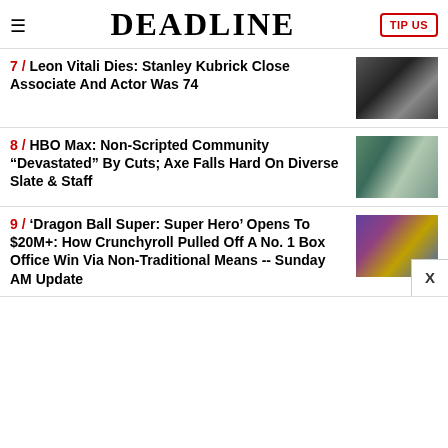DEADLINE
7 / Leon Vitali Dies: Stanley Kubrick Close Associate And Actor Was 74
8 / HBO Max: Non-Scripted Community "Devastated" By Cuts; Axe Falls Hard On Diverse Slate & Staff
9 / 'Dragon Ball Super: Super Hero' Opens To $20M+: How Crunchyroll Pulled Off A No. 1 Box Office Win Via Non-Traditional Means -- Sunday AM Update